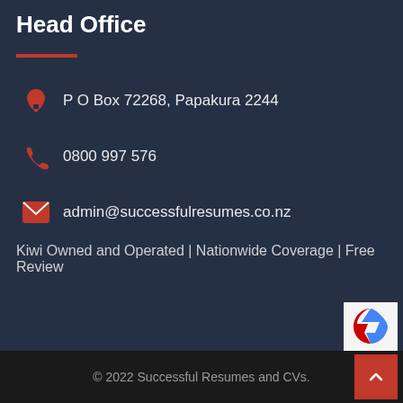Head Office
P O Box 72268, Papakura 2244
0800 997 576
admin@successfulresumes.co.nz
Kiwi Owned and Operated | Nationwide Coverage | Free Review
© 2022 Successful Resumes and CVs.